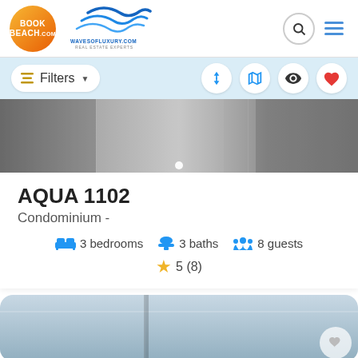[Figure (logo): BookBeach.com orange circular logo on left; WavesOfLuxury.com wave logo in center of header]
Filters
[Figure (photo): Grayscale property interior/exterior photo strip with white dot indicator]
AQUA 1102
Condominium -
3 bedrooms  3 baths  8 guests
5 (8)
[Figure (photo): Partial photo of a property interior, light blue/white tones, with heart icon overlay]